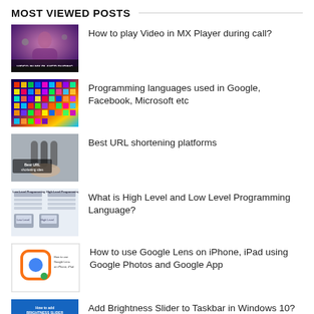MOST VIEWED POSTS
How to play Video in MX Player during call?
Programming languages used in Google, Facebook, Microsoft etc
Best URL shortening platforms
What is High Level and Low Level Programming Language?
How to use Google Lens on iPhone, iPad using Google Photos and Google App
Add Brightness Slider to Taskbar in Windows 10? How?